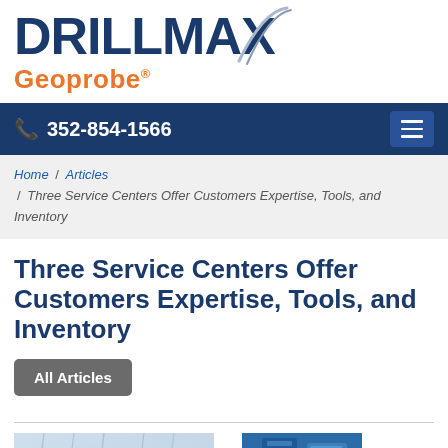[Figure (logo): DRILLMAX Geoprobe logo with graphical swoosh element]
352-854-1566
Home / Articles / Three Service Centers Offer Customers Expertise, Tools, and Inventory
Three Service Centers Offer Customers Expertise, Tools, and Inventory
All Articles
[Figure (photo): Photo of drilling equipment parts and cores at the bottom of the page]